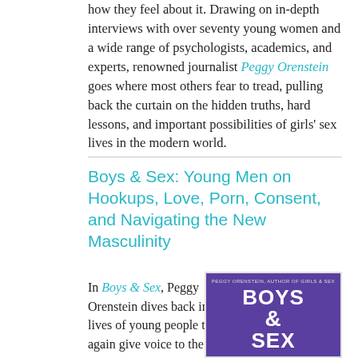how they feel about it. Drawing on in-depth interviews with over seventy young women and a wide range of psychologists, academics, and experts, renowned journalist Peggy Orenstein goes where most others fear to tread, pulling back the curtain on the hidden truths, hard lessons, and important possibilities of girls' sex lives in the modern world.
Boys & Sex: Young Men on Hookups, Love, Porn, Consent, and Navigating the New Masculinity
In Boys & Sex, Peggy Orenstein dives back into the lives of young people to once again give voice to the unspoken, revealing how
[Figure (illustration): Book cover for 'Boys & Sex' by Peggy Orenstein. Purple background with large white bold text reading 'BOYS & SEX'. Small text at top in lighter color.]